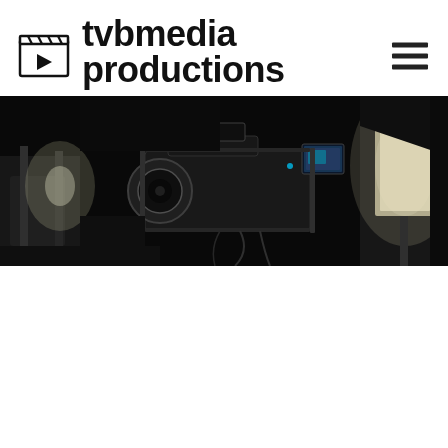tvbmedia productions
[Figure (photo): Film/TV production set with professional camera equipment, lighting rigs and studio equipment in a dark studio environment]
[Figure (other): Hamburger menu icon (three horizontal lines) in the top-right corner]